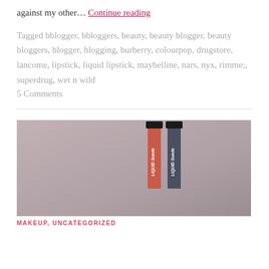against my other… Continue reading
Tagged bblogger, bbloggers, beauty, beauty blogger, beauty bloggers, blogger, blogging, burberry, colourpop, drugstore, lancome, lipstick, liquid lipstick, maybelline, nars, nyx, rimme;, superdrug, wet n wild
5 Comments
[Figure (photo): Two NYX Liquid Suede lipstick products photographed upright against a grey/mauve background]
MAKEUP, UNCATEGORIZED